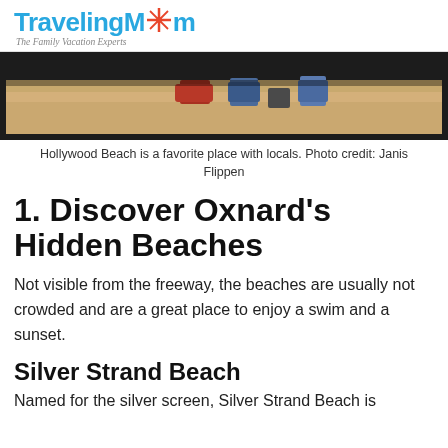TravelingMom The Family Vacation Experts
[Figure (photo): Beach photo showing people sitting on sand from behind, with items placed on the sand, cropped at top]
Hollywood Beach is a favorite place with locals. Photo credit: Janis Flippen
1. Discover Oxnard's Hidden Beaches
Not visible from the freeway, the beaches are usually not crowded and are a great place to enjoy a swim and a sunset.
Silver Strand Beach
Named for the silver screen, Silver Strand Beach is